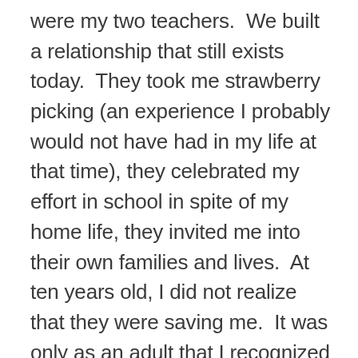were my two teachers.  We built a relationship that still exists today.  They took me strawberry picking (an experience I probably would not have had in my life at that time), they celebrated my effort in school in spite of my home life, they invited me into their own families and lives.  At ten years old, I did not realize that they were saving me.  It was only as an adult that I recognized the value of my relationship with them.  But, they knew.  They knew that it was important to build relationships with students.  They knew that in order for me to learn, I had to be in a place emotionally to be open to learning.  So, while my life